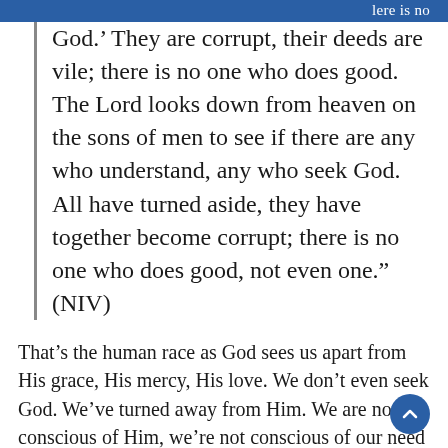lere is no
God.’ They are corrupt, their deeds are vile; there is no one who does good. The Lord looks down from heaven on the sons of men to see if there are any who understand, any who seek God. All have turned aside, they have together become corrupt; there is no one who does good, not even one.” (NIV)
That’s the human race as God sees us apart from His grace, His mercy, His love. We don’t even seek God. We’ve turned away from Him. We are not conscious of Him, we’re not conscious of our need of Him. We’ve turned our